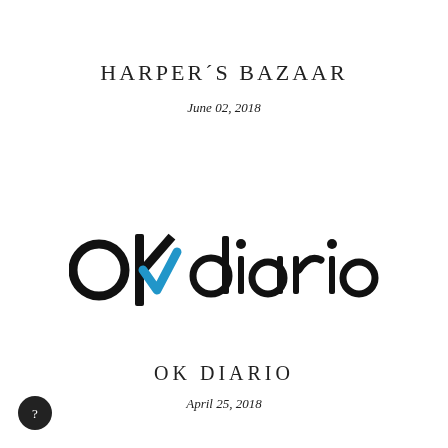HARPER´S BAZAAR
June 02, 2018
[Figure (logo): OK Diario logo: 'ok' in bold black sans-serif with a blue checkmark replacing the letter 'k', followed by 'diario' in thin black sans-serif]
OK DIARIO
April 25, 2018